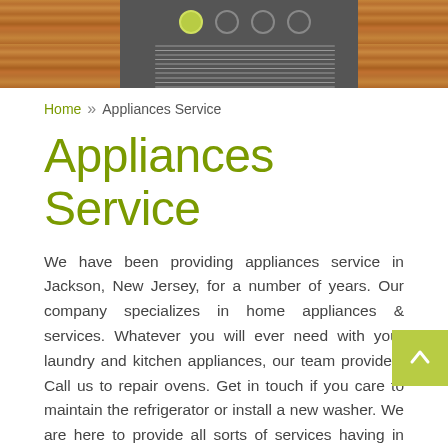[Figure (photo): Hero image showing kitchen appliances with wooden cabinet panels on left and right, and a dark stainless steel oven/appliance panel in the center with green indicator dots and control lines.]
Home  »  Appliances Service
Appliances Service
We have been providing appliances service in Jackson, New Jersey, for a number of years. Our company specializes in home appliances & services. Whatever you will ever need with your laundry and kitchen appliances, our team provides. Call us to repair ovens. Get in touch if you care to maintain the refrigerator or install a new washer. We are here to provide all sorts of services having in mind your need to use your appliances without being stressed out about their functionality or your safety. But then again Appliance Repair Jackson NJ is always here to fix problems.
Local customers can